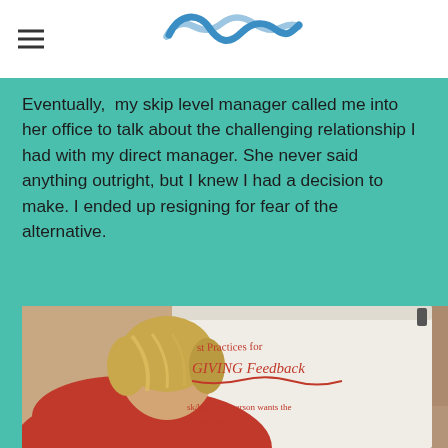[Navigation menu icon and wave logo]
Eventually,  my skip level manager called me into her office to talk about the challenging relationship I had with my direct manager. She never said anything outright, but I knew I had a decision to make. I ended up resigning for fear of the alternative.
[Figure (photo): Person with short blonde hair in a red top, viewed from behind, looking at a flip chart on an easel. The flip chart reads 'Best Practices for GIVING Feedback' with a note 'ask/know if person wants the feedback' in red handwriting.]